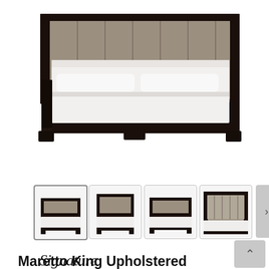[Figure (photo): Main product photo of a dark espresso king bed frame with upholstered headboard, white bedding, shown at an angle from the front-left. The bed has a tall paneled upholstered headboard and dark wood frame with thick legs.]
[Figure (photo): Row of four thumbnail images of the Maretto King Upholstered bed from different angles. First thumbnail (selected/highlighted) shows front-left angle, second shows front view, third shows right-side angle, fourth shows close-up of headboard. A right-arrow navigation button appears to the right.]
[Figure (logo): Signature Design by Ashley logo — cursive 'Signature' text above 'DESIGN BY ASHLEY' in block letters.]
Maretto King Upholstered